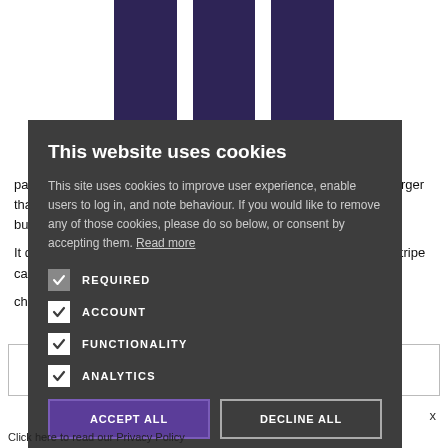[Figure (screenshot): Cookie consent modal overlay on a website. Background shows a striped ribbon (dark purple and white) at top, and partially visible article text about fabric patterns. The modal has a dark grey background with title 'This website uses cookies', body text explaining cookie usage, checkboxes for REQUIRED, ACCOUNT, FUNCTIONALITY, ANALYTICS, and two buttons ACCEPT ALL and DECLINE ALL.]
This website uses cookies
This site uses cookies to improve user experience, enable users to log in, and note behaviour. If you would like to remove any of those cookies, please do so below, or consent by accepting them. Read more
REQUIRED
ACCOUNT
FUNCTIONALITY
ANALYTICS
ACCEPT ALL
DECLINE ALL
Click here to read our Privacy Policy